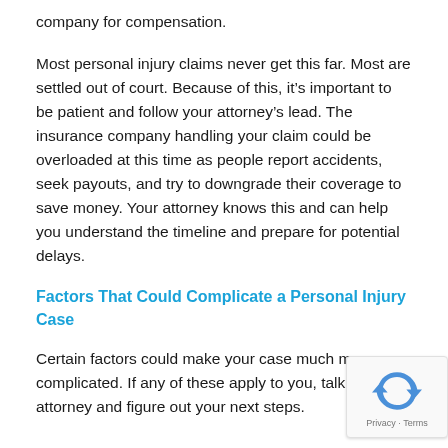company for compensation.
Most personal injury claims never get this far. Most are settled out of court. Because of this, it’s important to be patient and follow your attorney’s lead. The insurance company handling your claim could be overloaded at this time as people report accidents, seek payouts, and try to downgrade their coverage to save money. Your attorney knows this and can help you understand the timeline and prepare for potential delays.
Factors That Could Complicate a Personal Injury Case
Certain factors could make your case much more complicated. If any of these apply to you, talk to your attorney and figure out your next steps.